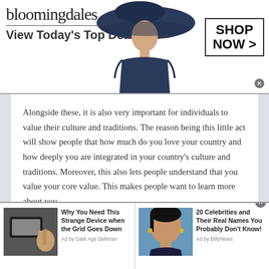[Figure (other): Bloomingdale's advertisement banner with logo, model in large hat, 'View Today's Top Deals!' tagline, and 'SHOP NOW >' button]
Alongside these, it is also very important for individuals to value their culture and traditions. The reason being this little act will show people that how much do you love your country and how deeply you are integrated in your country’s culture and traditions. Moreover, this also lets people understand that you value your core value. This makes people want to learn more about you.
[Figure (other): Bottom ad strip with two sponsored content items: 'Why You Need This Strange Device when the Grid Goes Down' (Ad by Dark Age Defense) and '20 Celebrities and Their Real Names You Probably Don’t Know!' (Ad by BillyNews)]